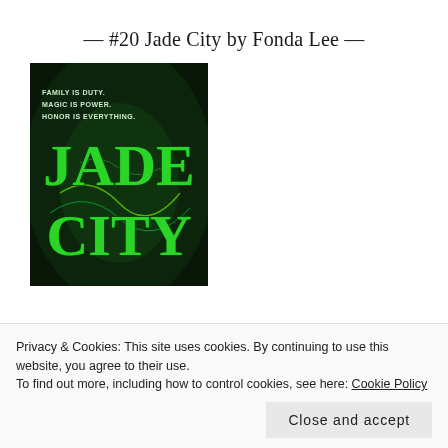— #20 Jade City by Fonda Lee —
[Figure (illustration): Book cover of Jade City by Fonda Lee. Dark background with green glowing title text 'JADE CITY' and taglines 'FAMILY IS DUTY. MAGIC IS POWER. HONOR IS EVERYTHING.']
Privacy & Cookies: This site uses cookies. By continuing to use this website, you agree to their use.
To find out more, including how to control cookies, see here: Cookie Policy
Close and accept